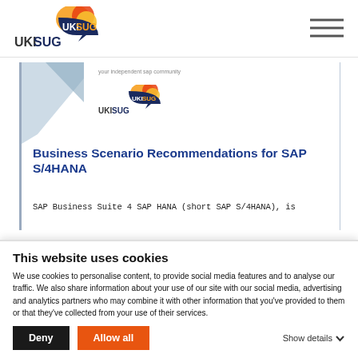[Figure (logo): UKISUG logo with orange/yellow flame and dark blue speech bubble, text reads UKISUG]
[Figure (illustration): Hamburger menu icon - three horizontal lines]
[Figure (screenshot): Article preview showing UKISUG branding, title 'Business Scenario Recommendations for SAP S/4HANA' and beginning of body text]
Business Scenario Recommendations for SAP S/4HANA
SAP Business Suite 4 SAP HANA (short SAP S/4HANA), is
This website uses cookies
We use cookies to personalise content, to provide social media features and to analyse our traffic. We also share information about your use of our site with our social media, advertising and analytics partners who may combine it with other information that you've provided to them or that they've collected from your use of their services.
Deny
Allow all
Show details